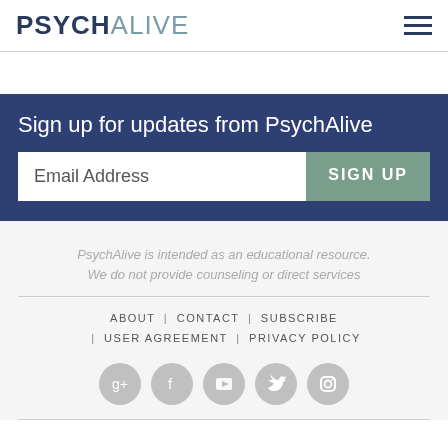PSYCHALIVE
Sign up for updates from PsychAlive
Email Address  SIGN UP
PsychAlive is intended as an educational resource. We do not provide counseling or direct services
ABOUT | CONTACT | SUBSCRIBE | USER AGREEMENT | PRIVACY POLICY
[Figure (illustration): Five social media icons (Google+, Facebook, YouTube, Twitter, Instagram) in gray circles]